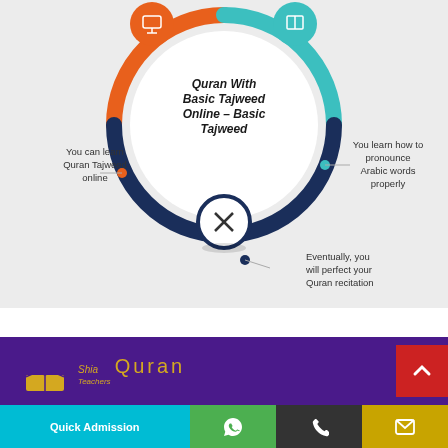[Figure (infographic): Circular infographic about learning Quran with Basic Tajweed Online. Center circle text: 'Quran With Basic Tajweed Online – Basic Tajweed'. Three callouts: left (orange) 'You can learn Quran Tajweed online', right (teal) 'You learn how to pronounce Arabic words properly', bottom (navy) 'Eventually, you will perfect your Quran recitation'.]
[Figure (logo): Shia Teachers Quran logo with crescent and open book icon in gold, text 'Shia Teachers Quran' on purple background]
Quick Admission